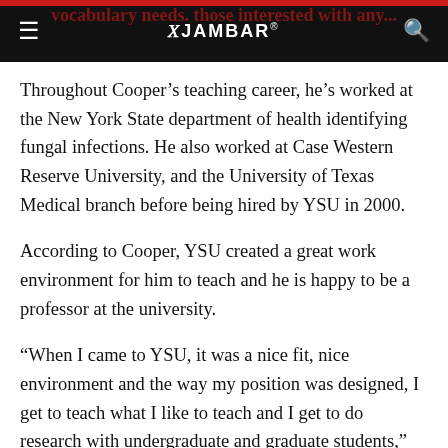THE JAMBAR
Throughout Cooper’s teaching career, he’s worked at the New York State department of health identifying fungal infections. He also worked at Case Western Reserve University, and the University of Texas Medical branch before being hired by YSU in 2000.
According to Cooper, YSU created a great work environment for him to teach and he is happy to be a professor at the university.
“When I came to YSU, it was a nice fit, nice environment and the way my position was designed, I get to teach what I like to teach and I get to do research with undergraduate and graduate students,” Cooper said. “Also, I’m involved in a lot of things and I